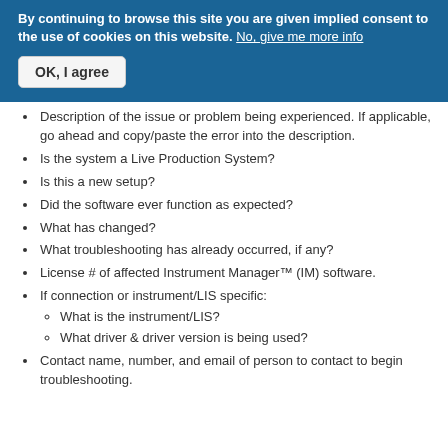By continuing to browse this site you are given implied consent to the use of cookies on this website. No, give me more info
OK, I agree
Description of the issue or problem being experienced. If applicable, go ahead and copy/paste the error into the description.
Is the system a Live Production System?
Is this a new setup?
Did the software ever function as expected?
What has changed?
What troubleshooting has already occurred, if any?
License # of affected Instrument Manager™ (IM) software.
If connection or instrument/LIS specific:
What is the instrument/LIS?
What driver & driver version is being used?
Contact name, number, and email of person to contact to begin troubleshooting.